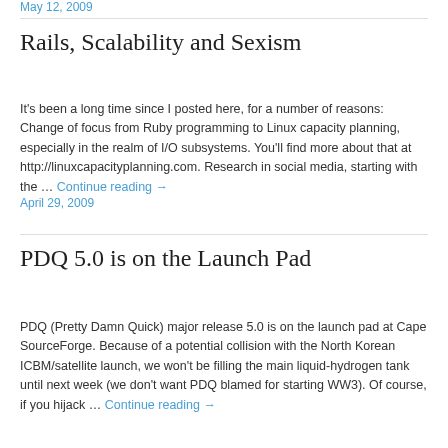May 12, 2009
Rails, Scalability and Sexism
It's been a long time since I posted here, for a number of reasons: Change of focus from Ruby programming to Linux capacity planning, especially in the realm of I/O subsystems. You'll find more about that at http://linuxcapacityplanning.com. Research in social media, starting with the … Continue reading →
April 29, 2009
PDQ 5.0 is on the Launch Pad
PDQ (Pretty Damn Quick) major release 5.0 is on the launch pad at Cape SourceForge. Because of a potential collision with the North Korean ICBM/satellite launch, we won't be filling the main liquid-hydrogen tank until next week (we don't want PDQ blamed for starting WW3). Of course, if you hijack … Continue reading →